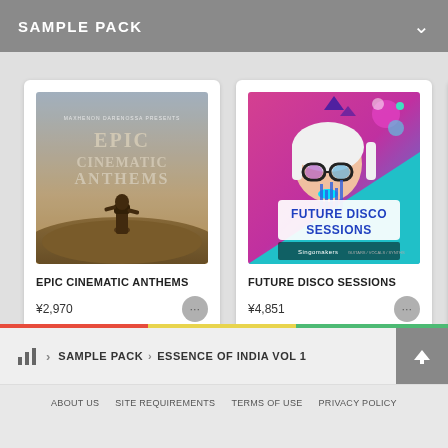SAMPLE PACK
[Figure (illustration): Epic Cinematic Anthems album art - cinematic landscape with armored figure, text overlay reading EPIC CINEMATIC ANTHEMS]
EPIC CINEMATIC ANTHEMS
¥2,970
[Figure (illustration): Future Disco Sessions album art - colorful pop art illustration of woman with large glasses, neon colors, text reading FUTURE DISCO SESSIONS, Singomakers branding]
FUTURE DISCO SESSIONS
¥4,851
SAMPLE PACK > ESSENCE OF INDIA VOL 1
ABOUT US   SITE REQUIREMENTS   TERMS OF USE   PRIVACY POLICY